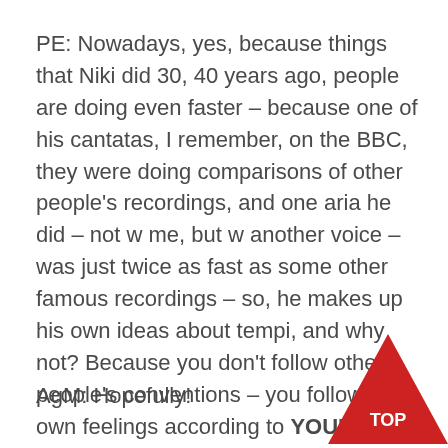PE: Nowadays, yes, because things that Niki did 30, 40 years ago, people are doing even faster – because one of his cantatas, I remember, on the BBC, they were doing comparisons of other people's recordings, and one aria he did – not w me, but w another voice – was just twice as fast as some other famous recordings – so, he makes up his own ideas about tempi, and why not? Because you don't follow other people's conventions – you follow your own feelings according to YOUR knowledge and experience of that music –
AgM: Hopefully!
[Figure (other): Red triangle 'TOP' button in bottom-right corner]